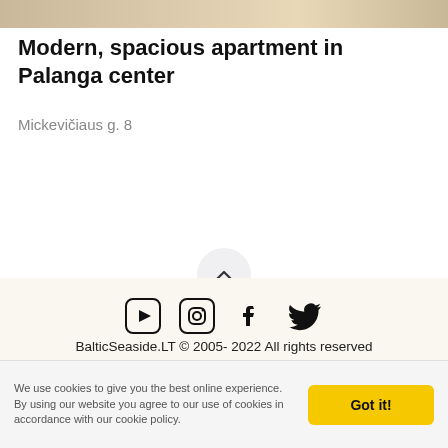[Figure (photo): Top portion of an interior apartment photo, cropped to a thin strip showing warm beige/tan tones]
Modern, spacious apartment in Palanga center
Mickevičiaus g. 8
[Figure (other): Circular button with upward-pointing chevron (caret) icon for scrolling to top]
[Figure (other): Social media icons row: YouTube, Instagram, Facebook, Twitter]
BalticSeaside.LT © 2005- 2022 All rights reserved
We use cookies to give you the best online experience. By using our website you agree to our use of cookies in accordance with our cookie policy.